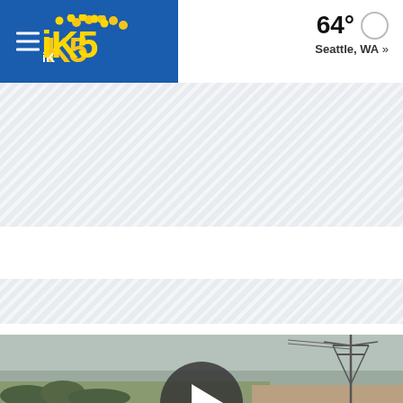KING5 News — 64° Seattle, WA »
[Figure (other): Diagonal-stripe ad banner placeholder, first band]
[Figure (other): Diagonal-stripe ad banner placeholder, second band]
[Figure (other): Video thumbnail showing overcast sky, power transmission tower on right, vegetation bottom-left, with large circular play button overlay]